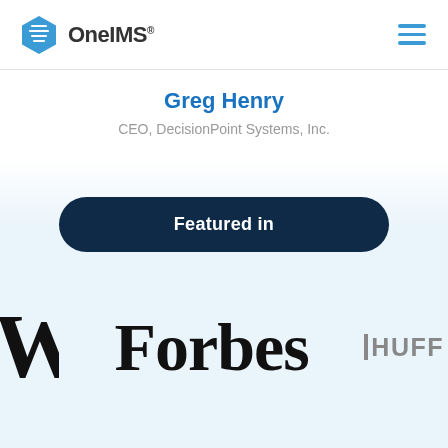OneIMS
Greg Henry
CEO, DecisionPoint Systems, Inc.
Featured in
[Figure (logo): W logo (partially visible), Forbes logo, HuffPost logo (partially visible, showing 'HUFF') on light blue background]